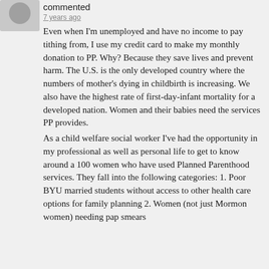commented
7 years ago
Even when I'm unemployed and have no income to pay tithing from, I use my credit card to make my monthly donation to PP. Why? Because they save lives and prevent harm. The U.S. is the only developed country where the numbers of mother's dying in childbirth is increasing. We also have the highest rate of first-day-infant mortality for a developed nation. Women and their babies need the services PP provides.
As a child welfare social worker I've had the opportunity in my professional as well as personal life to get to know around a 100 women who have used Planned Parenthood services. They fall into the following categories: 1. Poor BYU married students without access to other health care options for family planning 2. Women (not just Mormon women) needing pap smears